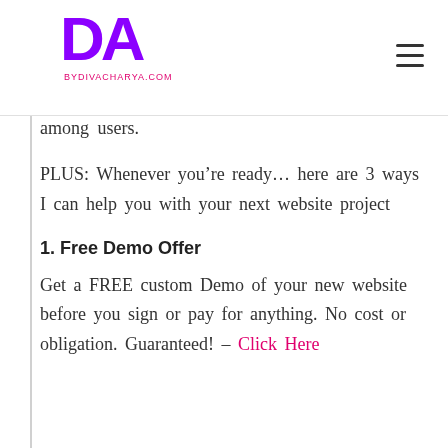BYDIVACHARYA.COM
among users.
PLUS: Whenever you’re ready… here are 3 ways I can help you with your next website project
1. Free Demo Offer
Get a FREE custom Demo of your new website before you sign or pay for anything. No cost or obligation. Guaranteed! – Click Here